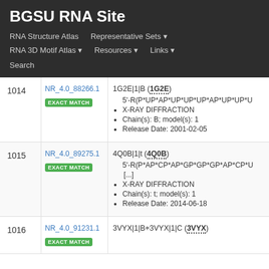BGSU RNA Site
RNA Structure Atlas | Representative Sets ▾ | RNA 3D Motif Atlas ▾ | Resources ▾ | Links ▾ | Search
| # | ID | Description |
| --- | --- | --- |
| 1014 | NR_4.0_88266.1
EXACT MATCH | 1G2E|1|B (1G2E)
• 5'-R(P*UP*AP*UP*UP*UP*AP*UP*UP*U...
• X-RAY DIFFRACTION
• Chain(s): B; model(s): 1
• Release Date: 2001-02-05 |
| 1015 | NR_4.0_89275.1
EXACT MATCH | 4Q0B|1|t (4Q0B)
• 5'-R(P*AP*CP*AP*GP*GP*GP*AP*CP*U...
[...]
• X-RAY DIFFRACTION
• Chain(s): t; model(s): 1
• Release Date: 2014-06-18 |
| 1016 | NR_4.0_91231.1
EXACT MATCH | 3VYX|1|B+3VYX|1|C (3VYX) |